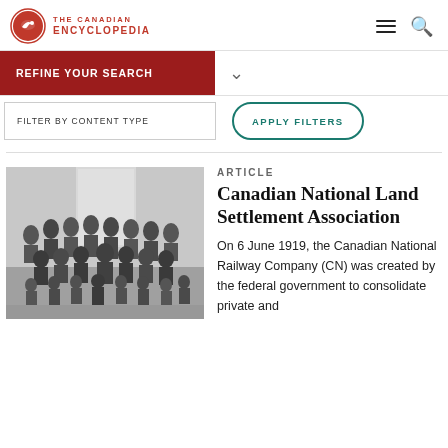The Canadian Encyclopedia
REFINE YOUR SEARCH
FILTER BY CONTENT TYPE
APPLY FILTERS
[Figure (photo): Black and white historical photograph of a large group of people, adults and children, posing together indoors.]
ARTICLE
Canadian National Land Settlement Association
On 6 June 1919, the Canadian National Railway Company (CN) was created by the federal government to consolidate private and...